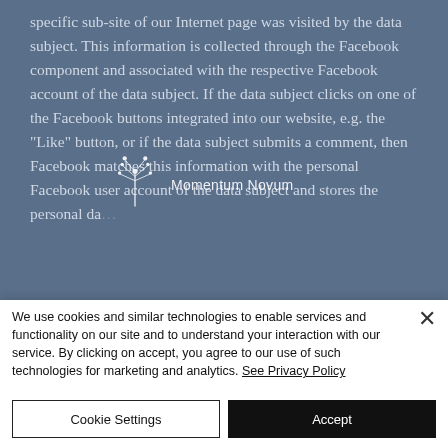specific sub-site of our Internet page was visited by the data subject. This information is collected through the Facebook component and associated with the respective Facebook account of the data subject. If the data subject clicks on one of the Facebook buttons integrated into our website, e.g. the "Like" button, or if the data subject submits a comment, then Facebook matches this information with the personal Facebook user account of the data subject and stores the personal da... Facebook...
[Figure (logo): Momentum Novum watermark logo with dandelion graphic and text]
We use cookies and similar technologies to enable services and functionality on our site and to understand your interaction with our service. By clicking on accept, you agree to our use of such technologies for marketing and analytics. See Privacy Policy